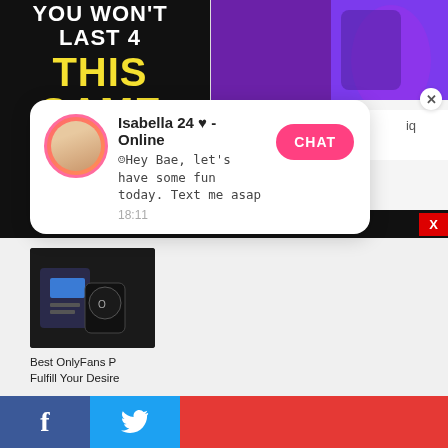[Figure (screenshot): Top section showing a dark game advertisement with white text 'YOU WON'T LAST 4' and yellow text 'THIS GAME' on the left, and a purple/cosplay themed right panel with a 'Cosplay' label.]
[Figure (screenshot): Chat popup overlay showing 'Isabella 24 heart - Online' with message 'Hey Bae, let's have some fun today. Text me asap' at 18:11 with a pink CHAT button, and a close X button.]
Advertisement
[Figure (screenshot): Article card showing an OnlyFans related image with text 'Best OnlyFans P... Fulfill Your Desire...']
Best OnlyFans P
Fulfill Your Desire
[Figure (screenshot): Social share bar at the bottom with Facebook (blue), Twitter (light blue), and a red section]